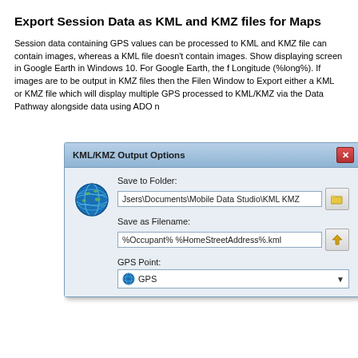Export Session Data as KML and KMZ files for Maps
Session data containing GPS values can be processed to KML and KMZ file can contain images, whereas a KML file doesn't contain images. Show displaying screen in Google Earth in Windows 10. For Google Earth, the f Longitude (%long%). If images are to be output in KMZ files then the Filen Window to Export either a KML or KMZ file which will display multiple GPS processed to KML/KMZ via the Data Pathway alongside data using ADO n
[Figure (screenshot): KML/KMZ Output Options dialog box showing Save to Folder field with path 'Jsers\Documents\Mobile Data Studio\KML KMZ', Save as Filename field with '%Occupant% %HomeStreetAddress%.kml', and GPS Point dropdown showing 'GPS']